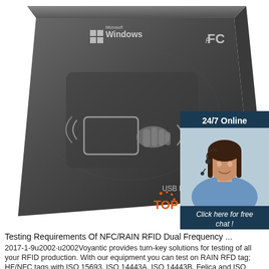[Figure (photo): Dark gray USB RFID/NFC card reader device with Microsoft Windows logo, FCC mark, contactless card icon, and 'USB Reader' label on the surface. White background.]
[Figure (infographic): Dark blue sidebar banner showing '24/7 Online' text, a photo of a smiling woman with a headset, 'Click here for free chat!' text in italics, and an orange 'QUOTATION' button below.]
Testing Requirements Of NFC/RAIN RFID Dual Frequency ...
2017-1-9u2002·u2002Voyantic provides turn-key solutions for testing of all your RFID production. With our equipment you can test on RAIN RFD tag; HF/NFC tags with ISO 15693, ISO 14443A, ISO 14443B, Felica and ISO 18000 3M3 protocol; and dual frequency tags. We would be happy to tell you more and tailor the best suited